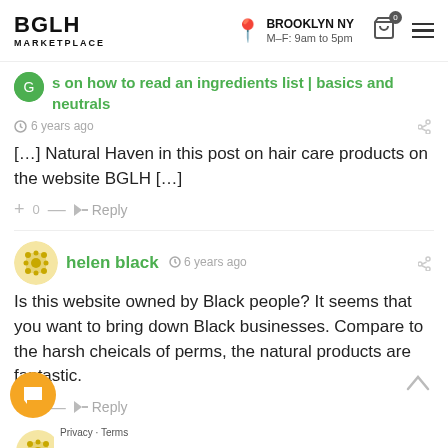BGLH MARKETPLACE — BROOKLYN NY M–F: 9am to 5pm
s on how to read an ingredients list | basics and neutrals
6 years ago
[…] Natural Haven in this post on hair care products on the website BGLH […]
+ 0 — Reply
helen black  6 years ago
Is this website owned by Black people? It seems that you want to bring down Black businesses. Compare to the harsh cheicals of perms, the natural products are fantastic.
0 — Reply